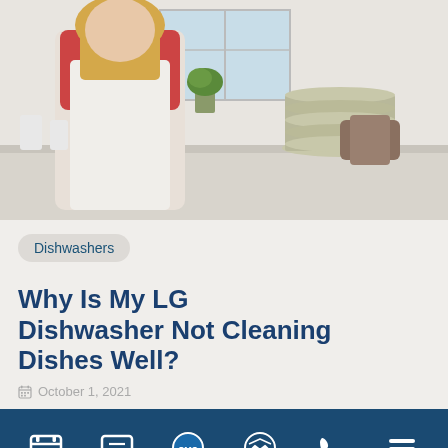[Figure (photo): Woman in kitchen holding a dish towel, stack of plates on counter, white kitchen background]
Dishwashers
Why Is My LG Dishwasher Not Cleaning Dishes Well?
October 1, 2021
[Figure (infographic): Navigation bar with icons: calendar, chat/comment, SMS, messenger, phone, menu]